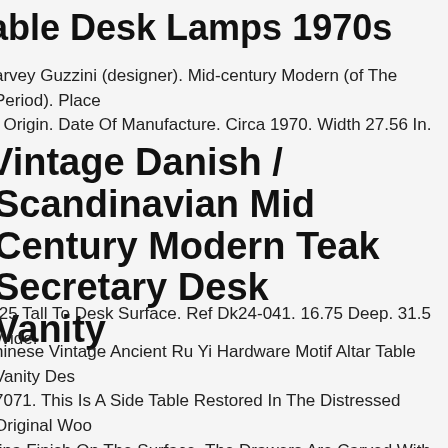able Desk Lamps 1970s
arvey Guzzini (designer). Mid-century Modern (of The Period). Place of Origin. Date Of Manufacture. Circa 1970. Width 27.56 In.
Vintage Danish / Scandinavian Mid Century Modern Teak Secretary Desk Vanity
.25 Tall To Desk Surface. Ref Dk24-041. 16.75 Deep. 31.5 Wide.
hinese Vintage Ancient Ru Yi Hardware Motif Altar Table Vanity Desk 7071. This Is A Side Table Restored In The Distressed Original Wood tina Finish On The Surface. The Drawers Are Carved With Ru Yi hape And Surrounded By Metal Hardware. Dimensions W39.25" X 20" X H33" , Underneath W25"x H23.5" , Inside Drawer W23" X D15" 5" Origin China Material Elm Wood Condition Vintage Restored, andmade, Rustic Finish, Minor Gap Lines Work Ship In One Piece.